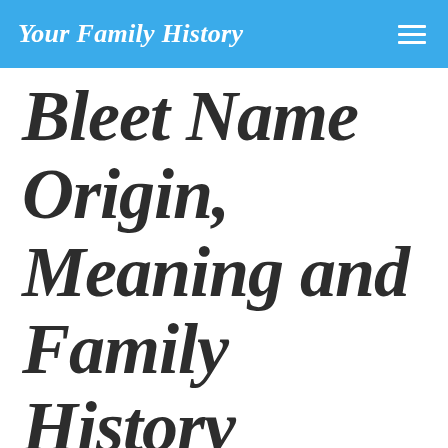Your Family History
Bleet Name Origin, Meaning and Family History
Discover how your Bleet ancestors earned their living and spread across